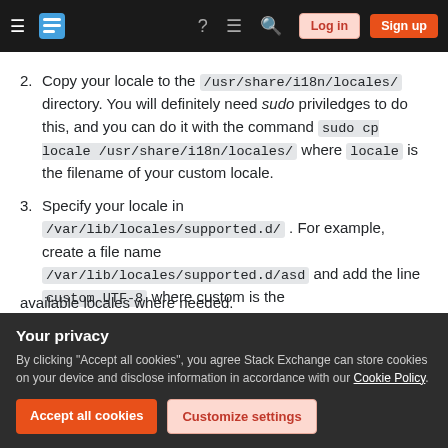Stack Exchange navigation bar with hamburger, logo, help, chat, search icons, Log in and Sign up buttons
2. Copy your locale to the /usr/share/i18n/locales/ directory. You will definitely need sudo priviledges to do this, and you can do it with the command sudo cp locale /usr/share/i18n/locales/ where locale is the filename of your custom locale.
3. Specify your locale in /var/lib/locales/supported.d/ . For example, create a file name /var/lib/locales/supported.d/asd and add the line custom UTF-8 where custom is the ...
available locales where needed.
Your privacy
By clicking "Accept all cookies", you agree Stack Exchange can store cookies on your device and disclose information in accordance with our Cookie Policy.
Accept all cookies | Customize settings